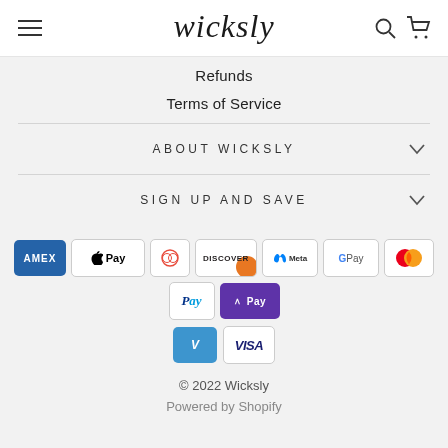wicksly
Refunds
Terms of Service
ABOUT WICKSLY
SIGN UP AND SAVE
[Figure (logo): Payment method icons: American Express, Apple Pay, Diners, Discover, Meta Pay, Google Pay, Mastercard, PayPal, Shop Pay, Venmo, Visa]
© 2022 Wicksly
Powered by Shopify